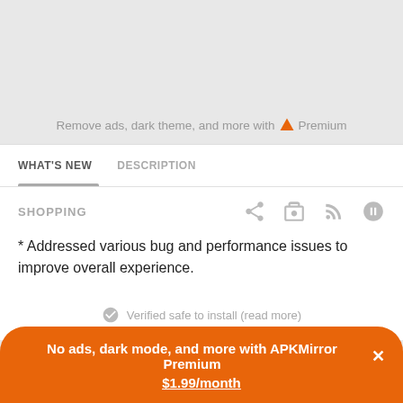Remove ads, dark theme, and more with  Premium
WHAT'S NEW
DESCRIPTION
SHOPPING
* Addressed various bug and performance issues to improve overall experience.
Verified safe to install (read more)
No ads, dark mode, and more with APKMirror Premium ✕
$1.99/month